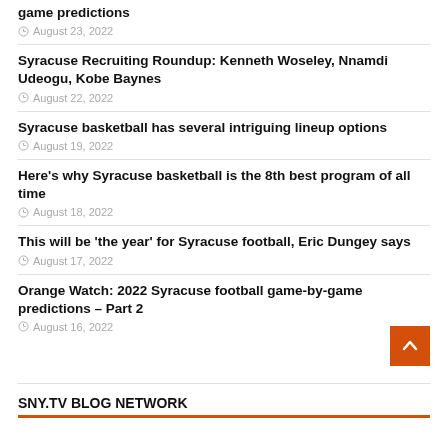game predictions
August 23, 2022
Syracuse Recruiting Roundup: Kenneth Woseley, Nnamdi Udeogu, Kobe Baynes
August 22, 2022
Syracuse basketball has several intriguing lineup options
August 19, 2022
Here's why Syracuse basketball is the 8th best program of all time
August 18, 2022
This will be 'the year' for Syracuse football, Eric Dungey says
August 17, 2022
Orange Watch: 2022 Syracuse football game-by-game predictions – Part 2
August 16, 2022
SNY.TV BLOG NETWORK